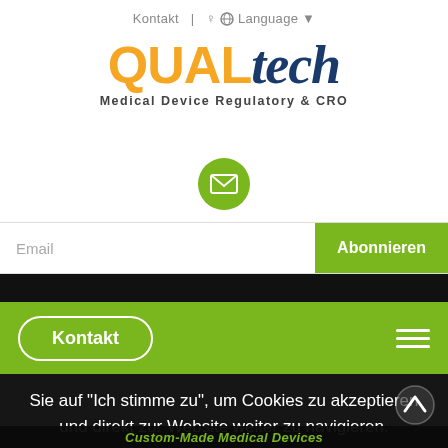Kontakt  |  Language
[Figure (logo): Qualtech Medical Device Regulatory & CRO logo. 'QUAL' in orange bold, 'tech' in dark blue italic serif. Subtitle: Medical Device Regulatory & CRO]
[Figure (illustration): Green circle with white envelope/email icon]
Email
Abonnieren
Kontakt
Sie auf "Ich stimme zu", um Cookies zu akzeptieren und direkt zur Website weiter zu navigieren.
Ich stimme zu
Custom-Made Medical Devices